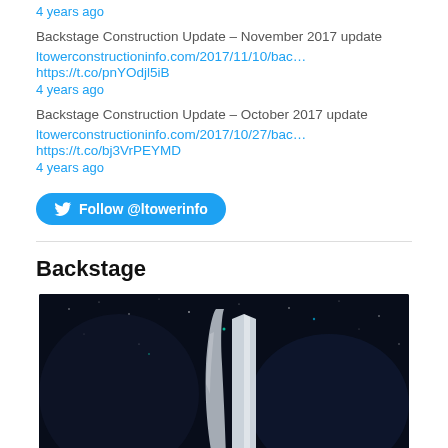4 years ago
Backstage Construction Update – November 2017 update
ltowerconstructioninfo.com/2017/11/10/bac… https://t.co/pnYOdjl5iB
4 years ago
Backstage Construction Update – October 2017 update
ltowerconstructioninfo.com/2017/10/27/bac… https://t.co/bj3VrPEYMD
4 years ago
Follow @ltowerinfo
Backstage
[Figure (photo): Night-time architectural rendering of a tall skyscraper with illuminated facade against a dark starry sky background]